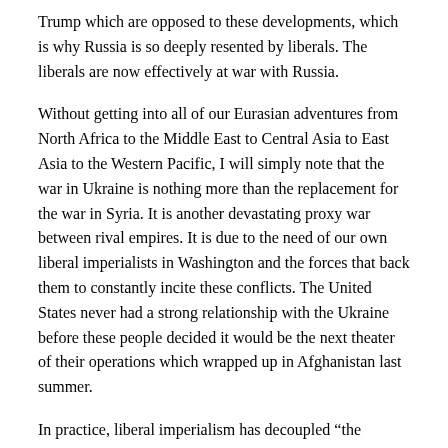Trump which are opposed to these developments, which is why Russia is so deeply resented by liberals. The liberals are now effectively at war with Russia.
Without getting into all of our Eurasian adventures from North Africa to the Middle East to Central Asia to East Asia to the Western Pacific, I will simply note that the war in Ukraine is nothing more than the replacement for the war in Syria. It is another devastating proxy war between rival empires. It is due to the need of our own liberal imperialists in Washington and the forces that back them to constantly incite these conflicts. The United States never had a strong relationship with the Ukraine before these people decided it would be the next theater of their operations which wrapped up in Afghanistan last summer.
In practice, liberal imperialism has decoupled “the Homeland” from the American Empire (“the Homeland” being merely the base of its global operations and a dumping ground for an endless stream of refugees from its war zones), and it has disconnected the historical character of the...